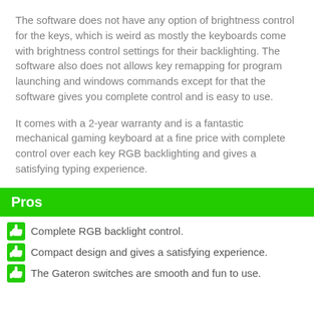The software does not have any option of brightness control for the keys, which is weird as mostly the keyboards come with brightness control settings for their backlighting. The software also does not allows key remapping for program launching and windows commands except for that the software gives you complete control and is easy to use.
It comes with a 2-year warranty and is a fantastic mechanical gaming keyboard at a fine price with complete control over each key RGB backlighting and gives a satisfying typing experience.
Pros
Complete RGB backlight control.
Compact design and gives a satisfying experience.
The Gateron switches are smooth and fun to use.